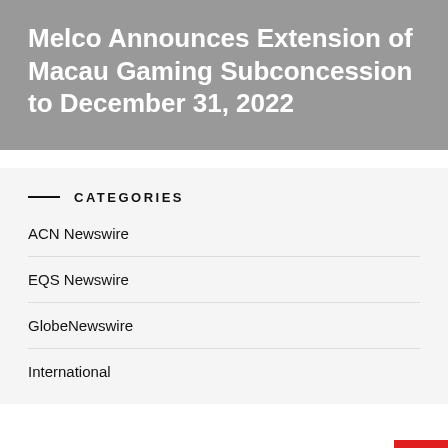Melco Announces Extension of Macau Gaming Subconcession to December 31, 2022
CATEGORIES
ACN Newswire
EQS Newswire
GlobeNewswire
International